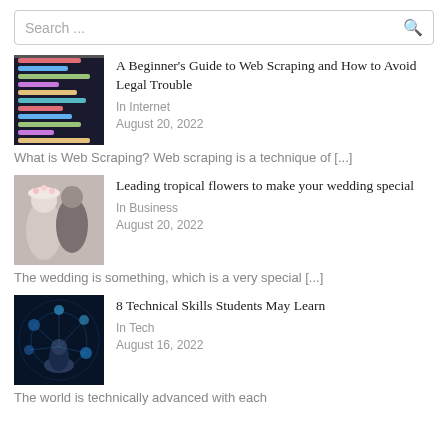Search ...
[Figure (screenshot): Code editor screenshot with colorful syntax highlighting on dark background]
A Beginner's Guide to Web Scraping and How to Avoid Legal Trouble
In Internet
August 20, 2022
What is Web Scraping? Web scraping is a technique of [...]
[Figure (photo): Wedding couple photo - man kissing woman with flower crown on light background]
Leading tropical flowers to make your wedding special
In Business
August 20, 2022
The wedding is something, which is a very special [...]
[Figure (photo): Person with glowing technology icons around them on dark blue background]
8 Technical Skills Students May Learn
In Tech
August 16, 2022
The world is technically advanced with each